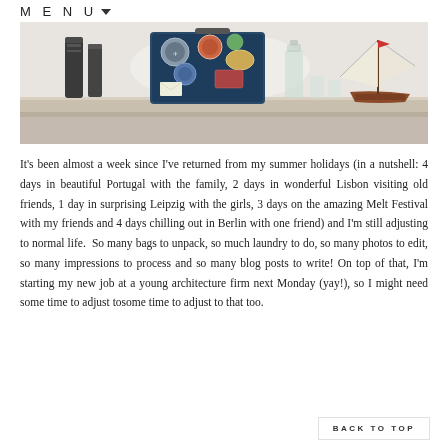MENU ▾
[Figure (photo): A shelf with travel items including a suitcase covered in travel stickers, metal bottles, a glass bottle, small glasses, and a model sailboat on a wooden shelf against a white wall.]
It's been almost a week since I've returned from my summer holidays (in a nutshell: 4 days in beautiful Portugal with the family, 2 days in wonderful Lisbon visiting old friends, 1 day in surprising Leipzig with the girls, 3 days on the amazing Melt Festival with my friends and 4 days chilling out in Berlin with one friend) and I'm still adjusting to normal life.  So many bags to unpack, so much laundry to do, so many photos to edit, so many impressions to process and so many blog posts to write! On top of that, I'm starting my new job at a young architecture firm next Monday (yay!), so I might need some time to adjust to that too.
BACK TO TOP